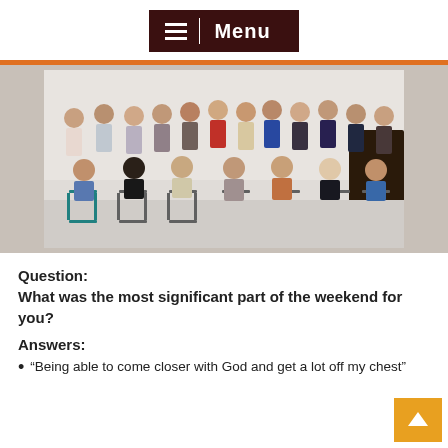Menu
[Figure (photo): Group photo of approximately 25-30 adults indoors, most giving thumbs up, seated and standing in rows against a white wall.]
Question:
What was the most significant part of the weekend for you?
Answers:
“Being able to come closer with God and get a lot off my chest”